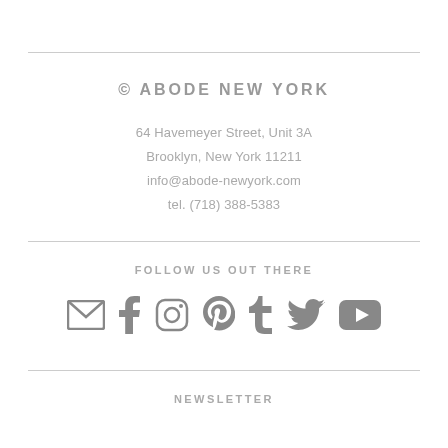© ABODE NEW YORK
64 Havemeyer Street, Unit 3A
Brooklyn, New York 11211
info@abode-newyork.com
tel. (718) 388-5383
FOLLOW US OUT THERE
[Figure (infographic): Row of social media icons: email envelope, Facebook, Instagram, Pinterest, Tumblr, Twitter, YouTube]
NEWSLETTER